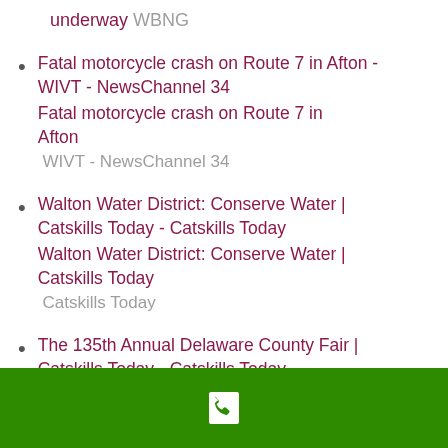underway  WBNG
Fatal motorcycle crash on Route 7 in Afton - WIVT - NewsChannel 34
Fatal motorcycle crash on Route 7 in Afton  WIVT - NewsChannel 34
Walton Water District: Conserve Water | Catskills Today - Catskills Today
Walton Water District: Conserve Water | Catskills Today  Catskills Today
The 135th Annual Delaware County Fair | Catskills Today - Catskills Today